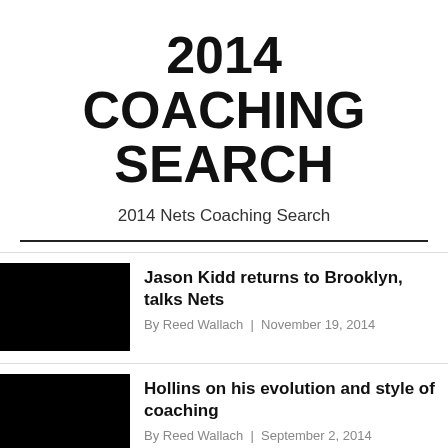2014 COACHING SEARCH
2014 Nets Coaching Search
Jason Kidd returns to Brooklyn, talks Nets | By Reed Wallach | November 19, 2014
Hollins on his evolution and style of coaching | By Reed Wallach | September 2, 2014